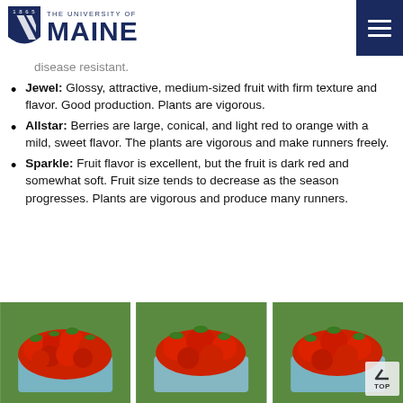1865 THE UNIVERSITY OF MAINE
disease resistant.
Jewel: Glossy, attractive, medium-sized fruit with firm texture and flavor. Good production. Plants are vigorous.
Allstar: Berries are large, conical, and light red to orange with a mild, sweet flavor. The plants are vigorous and make runners freely.
Sparkle: Fruit flavor is excellent, but the fruit is dark red and somewhat soft. Fruit size tends to decrease as the season progresses. Plants are vigorous and produce many runners.
[Figure (photo): Three containers of red strawberries on green grass, side by side]
[Figure (photo): Container of large red strawberries on green grass]
[Figure (photo): Container of red strawberries on green grass with TOP back-to-top button overlay]